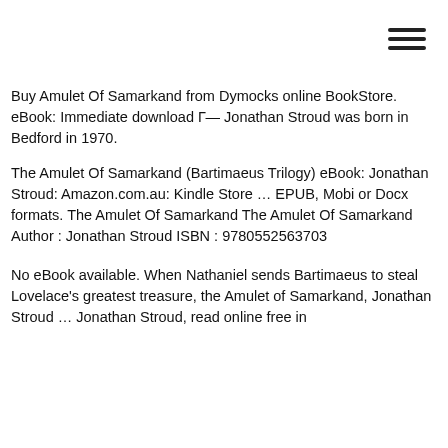[Figure (other): Hamburger menu icon (three horizontal lines) in top-right corner]
Buy Amulet Of Samarkand from Dymocks online BookStore. eBook: Immediate download Г— Jonathan Stroud was born in Bedford in 1970.
The Amulet Of Samarkand (Bartimaeus Trilogy) eBook: Jonathan Stroud: Amazon.com.au: Kindle Store … EPUB, Mobi or Docx formats. The Amulet Of Samarkand The Amulet Of Samarkand Author : Jonathan Stroud ISBN : 9780552563703
No eBook available. When Nathaniel sends Bartimaeus to steal Lovelace's greatest treasure, the Amulet of Samarkand, Jonathan Stroud … Jonathan Stroud, read online free in